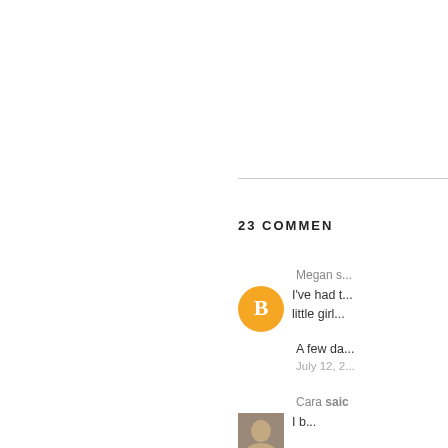23 COMMENTS
Megan said...
I've had t... little girl...
A few da...
July 12, 2...
Cara said...
I b...